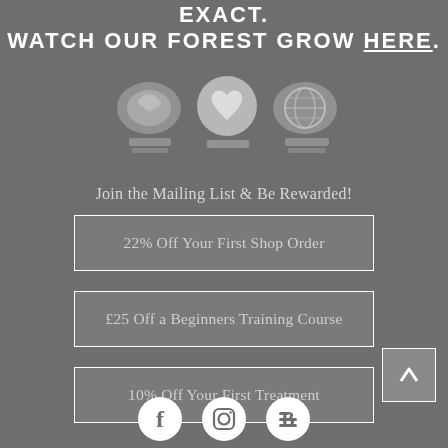EXACT. WATCH OUR FOREST GROW HERE.
[Figure (illustration): Three blurred icons/badges: a recycling/leaf icon, a heart/vegan icon, and a globe icon, each with small text labels underneath]
Join the Mailing List & Be Rewarded!
22% Off Your First Shop Order
£25 Off a Beginners Training Course
10% Off Your First Treatment
[Figure (illustration): Back to top arrow button (up arrow in a square)]
[Figure (illustration): Social media icons: Facebook, Instagram, Blogger in white circles]